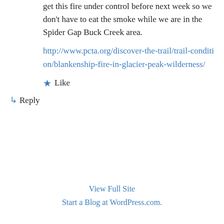get this fire under control before next week so we don't have to eat the smoke while we are in the Spider Gap Buck Creek area.
http://www.pcta.org/discover-the-trail/trail-condition/blankenship-fire-in-glacier-peak-wilderness/
★ Like
↳ Reply
View Full Site
Start a Blog at WordPress.com.